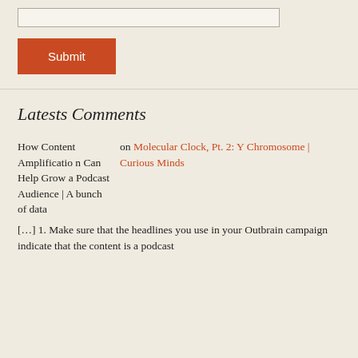[input bar]
Submit
Latests Comments
How Content Amplification Can Help Grow a Podcast Audience | A bunch of data
on Molecular Clock, Pt. 2: Y Chromosome | Curious Minds
[…] 1. Make sure that the headlines you use in your Outbrain campaign indicate that the content is a podcast